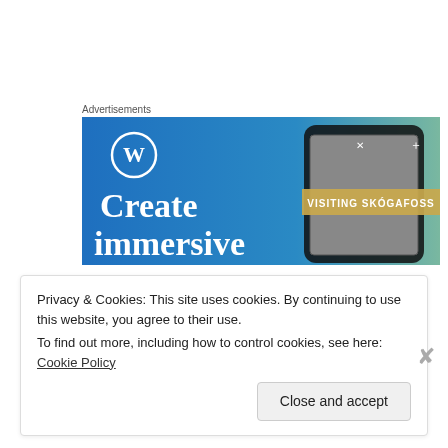Advertisements
[Figure (photo): WordPress advertisement banner showing a phone with 'VISITING SKOGAFOSS' and text 'Create immersive' on a blue-green gradient background with WordPress logo]
Philip White on March 8, 2016 at 1:35 pm
Privacy & Cookies: This site uses cookies. By continuing to use this website, you agree to their use.
To find out more, including how to control cookies, see here: Cookie Policy
Close and accept